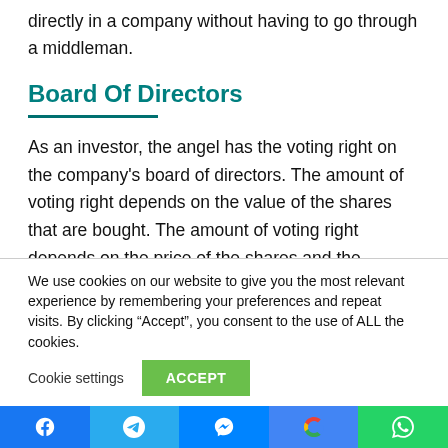directly in a company without having to go through a middleman.
Board Of Directors
As an investor, the angel has the voting right on the company's board of directors. The amount of voting right depends on the value of the shares that are bought. The amount of voting right depends on the price of the shares and the number of shares that are bought.
We use cookies on our website to give you the most relevant experience by remembering your preferences and repeat visits. By clicking “Accept”, you consent to the use of ALL the cookies.